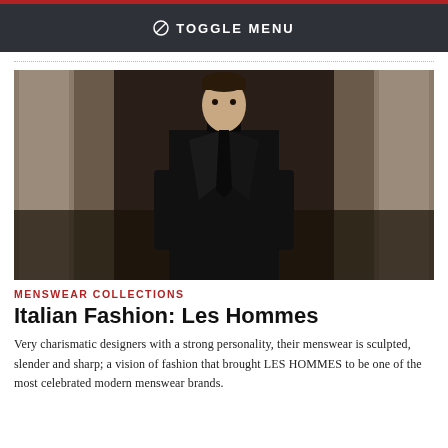⊘ TOGGLE MENU
[Figure (photo): Fashion runway photo of a male model wearing a black turtleneck and black blazer with a loose black necktie, walking on a runway in an ornate interior setting with stone columns.]
MENSWEAR COLLECTIONS
Italian Fashion: Les Hommes
Very charismatic designers with a strong personality, their menswear is sculpted, slender and sharp; a vision of fashion that brought LES HOMMES to be one of the most celebrated modern menswear brands.